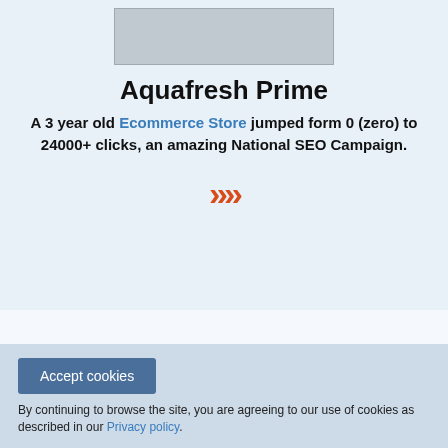[Figure (other): Gray placeholder image rectangle at top of card]
Aquafresh Prime
A 3 year old Ecommerce Store jumped form 0 (zero) to 24000+ clicks, an amazing National SEO Campaign.
[Figure (other): Orange double chevron (>>) icon]
Accept cookies
By continuing to browse the site, you are agreeing to our use of cookies as described in our Privacy policy.